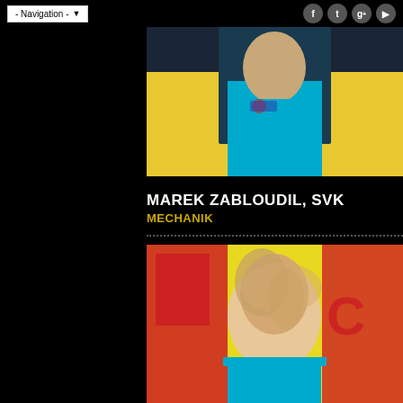- Navigation -
[Figure (photo): Top portion of a person wearing a cyan/teal polo shirt with a flag logo, against a yellow background]
MAREK ZABLOUDIL, SVK
MECHANIK
[Figure (photo): Woman with blonde hair smiling, wearing a cyan/teal polo shirt, standing in front of a yellow and red banner/backdrop]